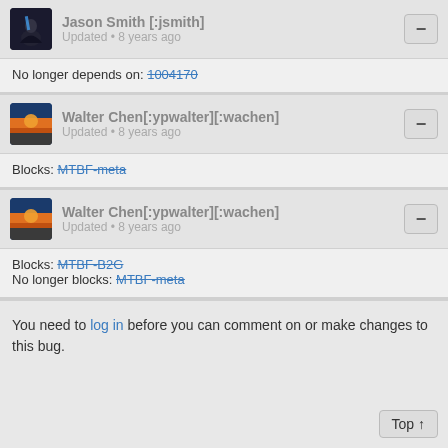Jason Smith [:jsmith] Updated • 8 years ago
No longer depends on: 1004170
Walter Chen[:ypwalter][:wachen] Updated • 8 years ago
Blocks: MTBF-meta
Walter Chen[:ypwalter][:wachen] Updated • 8 years ago
Blocks: MTBF-B2G
No longer blocks: MTBF-meta
You need to log in before you can comment on or make changes to this bug.